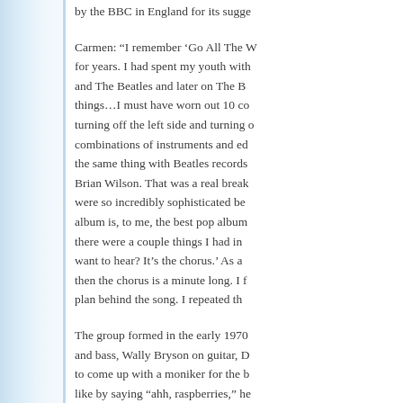by the BBC in England for its sugge...
Carmen: “I remember ‘Go All The W... for years. I had spent my youth with... and The Beatles and later on The B... things…I must have worn out 10 co... turning off the left side and turning o... combinations of instruments and ed... the same thing with Beatles records... Brian Wilson. That was a real break... were so incredibly sophisticated be... album is, to me, the best pop albu... there were a couple things I had in ... want to hear? It’s the chorus.’ As a... then the chorus is a minute long. I f... plan behind the song. I repeated th...
The group formed in the early 1970... and bass, Wally Bryson on guitar, D... to come up with a moniker for the b... like by saying “ahh, raspberries,” he...